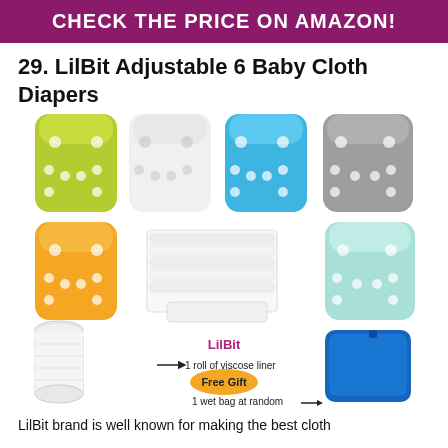CHECK THE PRICE ON AMAZON!
29. LilBit Adjustable 6 Baby Cloth Diapers
[Figure (photo): Product photo showing 6 cloth diapers in various colors (green, white, blue, gray, orange, mint), a stack of white inserts, a roll of viscose liner, a blue wet bag, with LilBit branding and labels indicating '1 roll of viscose liner' and '1 wet bag at random' as a Free Gift.]
LilBit brand is well known for making the best cloth